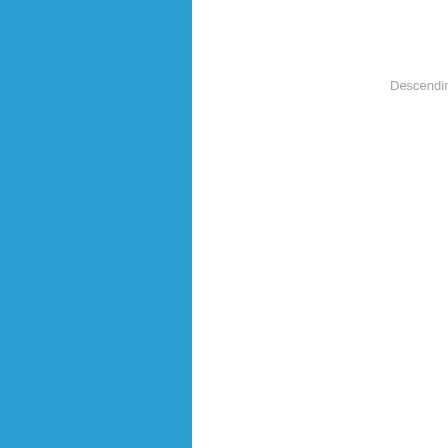[Figure (other): Blue decorative panel on the left side of the page with a white vertical stripe separator]
Descending thr